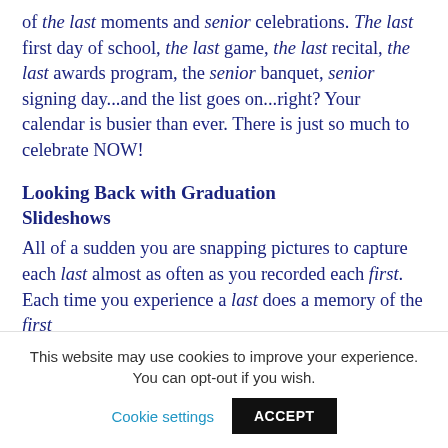of the last moments and senior celebrations. The last first day of school, the last game, the last recital, the last awards program, the senior banquet, senior signing day...and the list goes on...right?  Your calendar is busier than ever.  There is just so much to celebrate NOW!
Looking Back with Graduation Slideshows
All of a sudden you are snapping pictures to capture each last almost as often as you recorded each first.  Each time you experience a last does a memory of the first
This website may use cookies to improve your experience. You can opt-out if you wish.